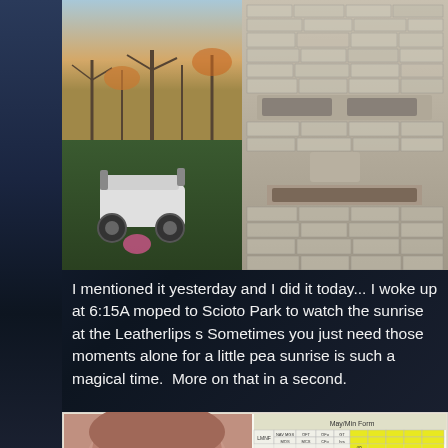[Figure (photo): Two photos side by side: left shows a moped/scooter parked on grass in a park at sunset/sunrise with bare trees; right shows a large stone face sculpture (Leatherlips monument) made of limestone blocks]
I mentioned it yesterday and I did it today... I woke up at 6:15A moped to Scioto Park to watch the sunrise at the Leatherlips s Sometimes you just need those moments alone for a little pea sunrise is such a magical time.  More on that in a second.
[Figure (photo): Bottom composite image: left side shows a selfie/close-up of a person with glasses and blue eyes; right side shows a colorful spreadsheet or scoring chart with yellow, green, and pink highlighted cells]